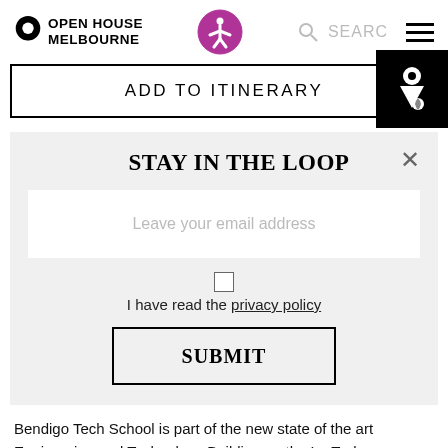OPEN HOUSE MELBOURNE
ADD TO ITINERARY
STAY IN THE LOOP
Leave your email address
I have read the privacy policy
SUBMIT
Bendigo Tech School is part of the new state of the art Engineering and Technology Building on the La Trobe